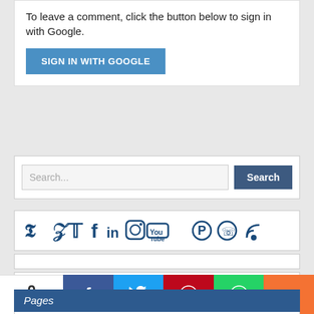To leave a comment, click the button below to sign in with Google.
[Figure (screenshot): Blue 'SIGN IN WITH GOOGLE' button]
[Figure (screenshot): Search bar with Search button]
[Figure (screenshot): Social media icons: Twitter, Facebook, LinkedIn, Instagram, YouTube, Pinterest, WhatsApp, RSS]
[Figure (screenshot): Empty white bar 1]
[Figure (screenshot): Empty white bar 2]
Pages
UPSC CDS Exam Pattern
[Figure (screenshot): Bottom share bar: 0 SHARES, Facebook, Twitter, Pinterest, WhatsApp, More (+)]